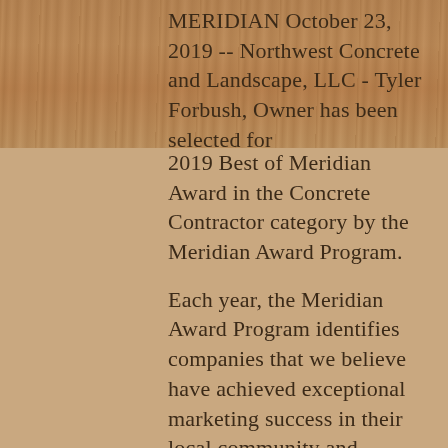MERIDIAN October 23, 2019 -- Northwest Concrete and Landscape, LLC - Tyler Forbush, Owner has been selected for 2019 Best of Meridian Award in the Concrete Contractor category by the Meridian Award Program.
Each year, the Meridian Award Program identifies companies that we believe have achieved exceptional marketing success in their local community and business category. These are local companies that enhance the positive image of small business through service to their customers and our community. The exceptional...